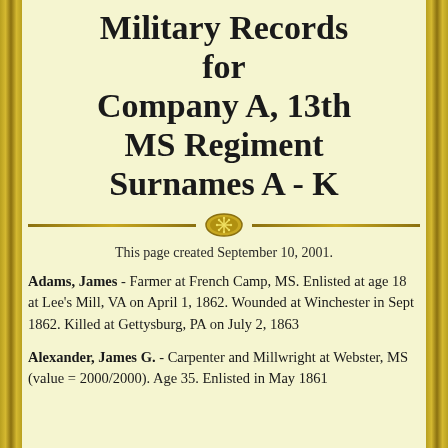Military Records for Company A, 13th MS Regiment Surnames A - K
[Figure (illustration): Decorative horizontal divider with two gold lines and a central oval ornament containing a snowflake/asterisk symbol]
This page created September 10, 2001.
Adams, James - Farmer at French Camp, MS. Enlisted at age 18 at Lee's Mill, VA on April 1, 1862. Wounded at Winchester in Sept 1862. Killed at Gettysburg, PA on July 2, 1863
Alexander, James G. - Carpenter and Millwright at Webster, MS (value = 2000/2000). Age 35. Enlisted in May 1861